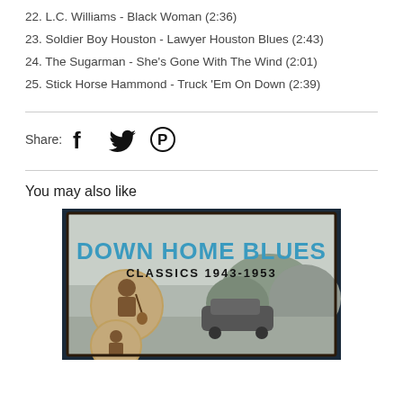22. L.C. Williams - Black Woman (2:36)
23. Soldier Boy Houston - Lawyer Houston Blues (2:43)
24. The Sugarman - She's Gone With The Wind (2:01)
25. Stick Horse Hammond - Truck 'Em On Down (2:39)
Share: [Facebook] [Twitter] [Pinterest]
You may also like
[Figure (photo): Album cover for 'Down Home Blues Classics 1943-1953' showing the title in blue text, with sepia-toned circular portraits of blues musicians and a black-and-white background scene.]